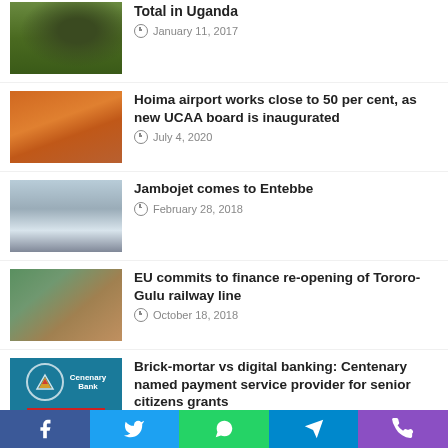[Figure (photo): Aerial photo of construction/drilling site in Uganda with green fields]
Total in Uganda
January 11, 2017
[Figure (photo): Group of people in orange safety vests and hard hats at construction site]
Hoima airport works close to 50 per cent, as new UCAA board is inaugurated
July 4, 2020
[Figure (photo): Airplane (Jambojet) in flight against blue sky]
Jambojet comes to Entebbe
February 28, 2018
[Figure (photo): Green locomotive/train on railway tracks]
EU commits to finance re-opening of Tororo-Gulu railway line
October 18, 2018
[Figure (logo): Centenary Bank / CenteAgent logo on teal background]
Brick-mortar vs digital banking: Centenary named payment service provider for senior citizens grants
July 1, 2020